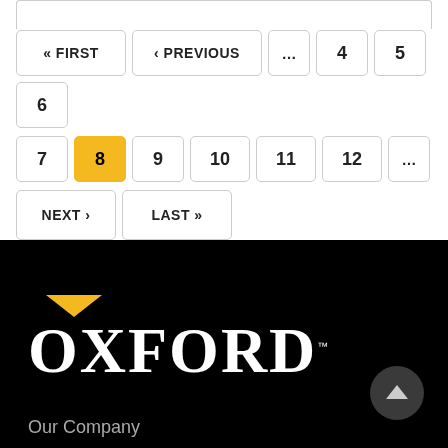« FIRST · ‹ PREVIOUS · ... · 4 · 5 · 6 · 7 · 8 · 9 · 10 · 11 · 12 · ... · NEXT › · LAST »
[Figure (logo): Oxford logo with yellow downward triangle above OXFORD text in white on black background, with TM mark]
Our Company